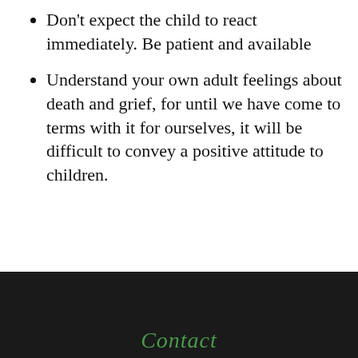Don't expect the child to react immediately. Be patient and available
Understand your own adult feelings about death and grief, for until we have come to terms with it for ourselves, it will be difficult to convey a positive attitude to children.
<< BACK
Contact